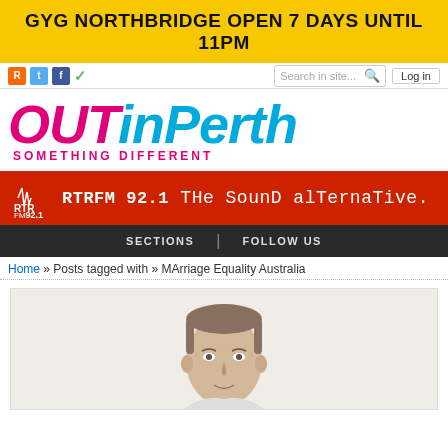[Figure (infographic): Yellow banner advertisement: GYG NORTHBRIDGE OPEN 7 DAYS UNTIL 11PM]
[Figure (screenshot): Navigation bar with social media icons (RSS, Twitter, Facebook, checkmark), search box, and Log in button]
[Figure (logo): OUTinPerth logo with tagline SOMETHING DIFFERENT in pink and blue]
[Figure (infographic): RTR FM 92.1 red banner advertisement: RTRFM 92.1 The Sound Alternative.]
SECTIONS | FOLLOW US
Home » Posts tagged with » MArriage Equality Australia
[Figure (photo): Photo of a middle-aged man with short hair, shown from shoulders up, against a white background]